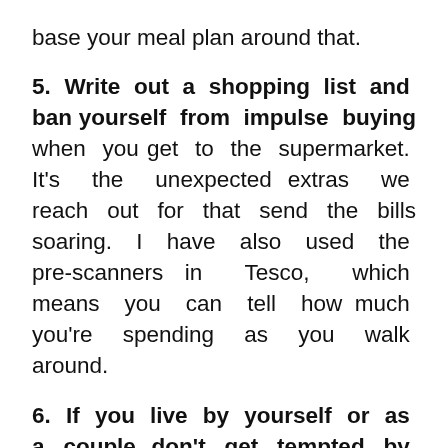base your meal plan around that.
5. Write out a shopping list and ban yourself from impulse buying when you get to the supermarket. It's the unexpected extras we reach out for that send the bills soaring. I have also used the pre-scanners in Tesco, which means you can tell how much you're spending as you walk around.
6. If you live by yourself or as a couple, don't get tempted by the 'buy one and get one free' deals, because you won't always be able to eat that much and it will go to waste. But if you do want to buy in